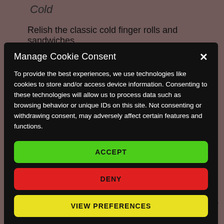Cold
Relish the classic cold finger rolls and sandwiches
Manage Cookie Consent
To provide the best experiences, we use technologies like cookies to store and/or access device information. Consenting to these technologies will allow us to process data such as browsing behavior or unique IDs on this site. Not consenting or withdrawing consent, may adversely affect certain features and functions.
ACCEPT
DENY
VIEW PREFERENCES
with clotted cream and fine preserves, vanilla profiteroles, lemon and thyme posset, chocolate tart